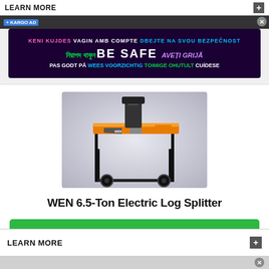LEARN MORE
[Figure (screenshot): Wikipedia BE SAFE multilingual safety banner advertisement with text in multiple languages including Albanian, Catalan, Czech, Bengali, English, Romanian, Danish, Dutch, Estonian, Spanish]
[Figure (photo): WEN 6.5-Ton Electric Log Splitter product photo on white/gray gradient background, showing orange and black log splitter machine with wheels and stand]
WEN 6.5-Ton Electric Log Splitter
CHECK PRICE
LEARN MORE